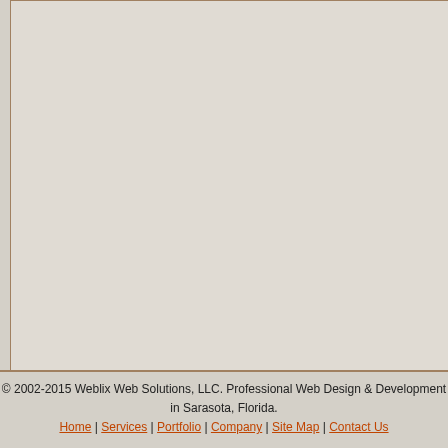client without refund of website hosting, database hosting account or dedicated have paid in advance.
Section 7: Excessive Traffic
Weblix does not permit sites where 20% downloads, or sites that use more than Weblix's view are detrimental to the enj other clients, or are in the sole and final network or business operations, or exce allowed bandwidth usage. File downloa apply to dedicated servers; however, th monthly traffic and bandwidth limits are each gigabyte of traffic exceeding their their account by Weblix, at the sole disc
Section 8: Illegal Account Usage
No use of a client's Weblix website hos account, database hosting account or d illegal activities, such as, but not limited scanning, flooding of services on other servers. Other attacks not mentioned ar discretion of Weblix personnel. Weblix r deactivate the client's website hosting, database hosting account or dedicated hosting, e-mail account, domain hostin dedicated server account fees which th
© 2002-2015 Weblix Web Solutions, LLC. Professional Web Design & Development in Sarasota, Florida.
Home | Services | Portfolio | Company | Site Map | Contact Us